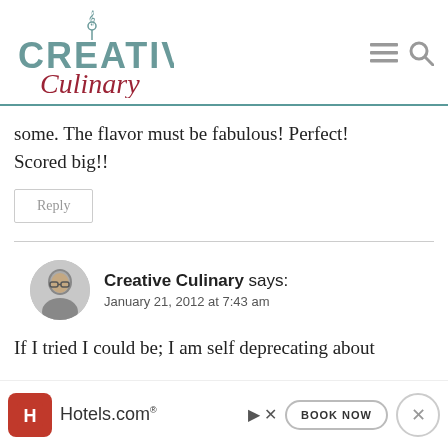Creative Culinary
some. The flavor must be fabulous! Perfect! Scored big!!
Reply
Creative Culinary says: January 21, 2012 at 7:43 am
If I tried I could be; I am self deprecating about it b...
[Figure (other): Hotels.com advertisement banner with red logo, Hotels.com text, BOOK NOW button, navigation arrows and close button]